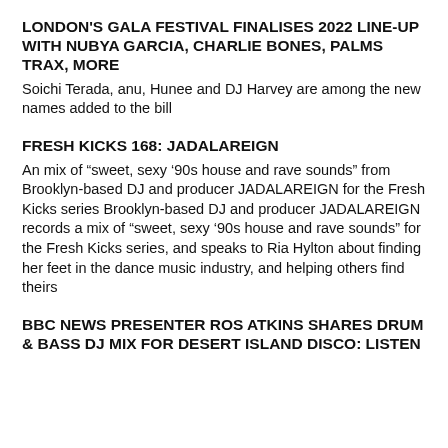LONDON'S GALA FESTIVAL FINALISES 2022 LINE-UP WITH NUBYA GARCIA, CHARLIE BONES, PALMS TRAX, MORE
Soichi Terada, anu, Hunee and DJ Harvey are among the new names added to the bill
FRESH KICKS 168: JADALAREIGN
An mix of “sweet, sexy ’90s house and rave sounds” from Brooklyn-based DJ and producer JADALAREIGN for the Fresh Kicks series Brooklyn-based DJ and producer JADALAREIGN records a mix of “sweet, sexy ’90s house and rave sounds” for the Fresh Kicks series, and speaks to Ria Hylton about finding her feet in the dance music industry, and helping others find theirs
BBC NEWS PRESENTER ROS ATKINS SHARES DRUM & BASS DJ MIX FOR DESERT ISLAND DISCO: LISTEN